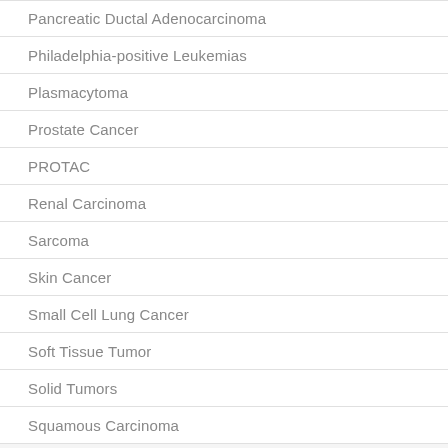Pancreatic Ductal Adenocarcinoma
Philadelphia-positive Leukemias
Plasmacytoma
Prostate Cancer
PROTAC
Renal Carcinoma
Sarcoma
Skin Cancer
Small Cell Lung Cancer
Soft Tissue Tumor
Solid Tumors
Squamous Carcinoma